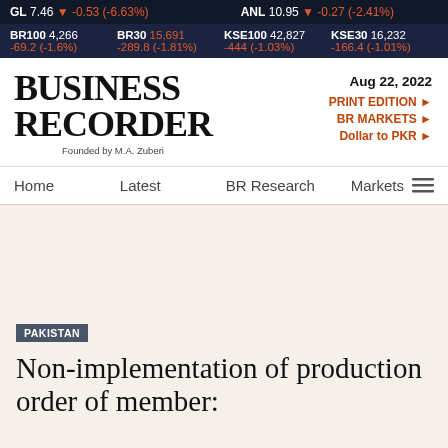GL 7.46 ▼ -0.53 (-6.63%) | ANL 10.95 ▼ -0.27 (-2.41%)
BR100 4,266 -69.2 (-1.6%) | BR30 15,691 -289.8 (-1.81%) | KSE100 42,827 -444 (-1.03%) | KSE30 16,232 -166.4 (-1.01%)
[Figure (logo): Business Recorder logo with 'Founded by M.A. Zuberi' tagline]
Aug 22, 2022
PRINT EDITION ►
BR MARKETS ►
Dollar to PKR ►
Home   Latest   BR Research   Markets
PAKISTAN
Non-implementation of production order of member: